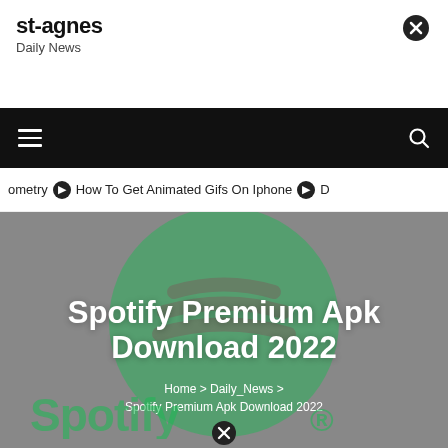st-agnes
Daily News
☰  🔍
ometry  ❯ How To Get Animated Gifs On Iphone  ❯ D
Spotify Premium Apk Download 2022
Home > Daily_News > Spotify Premium Apk Download 2022